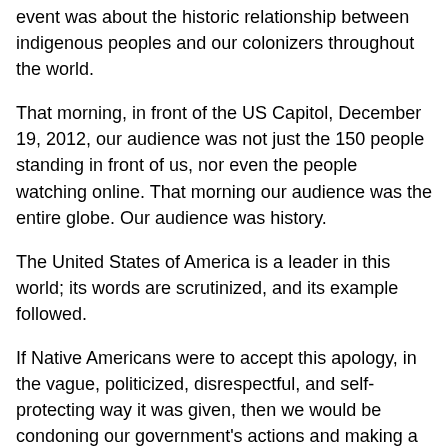event was about the historic relationship between indigenous peoples and our colonizers throughout the world.
That morning, in front of the US Capitol, December 19, 2012, our audience was not just the 150 people standing in front of us, nor even the people watching online. That morning our audience was the entire globe. Our audience was history.
The United States of America is a leader in this world; its words are scrutinized, and its example followed.
If Native Americans were to accept this apology, in the vague, politicized, disrespectful, and self-protecting way it was given, then we would be condoning our government's actions and making a model of their methods. We would be communicating to indigenous peoples everywhere that we are still subservient to our colonizers, that we are not their equals, and that we should just be grateful for whatever scraps they bother to throw our way.
I could not let that message get perpetuated. I have too much respect for myself, for my elders, for my country, and